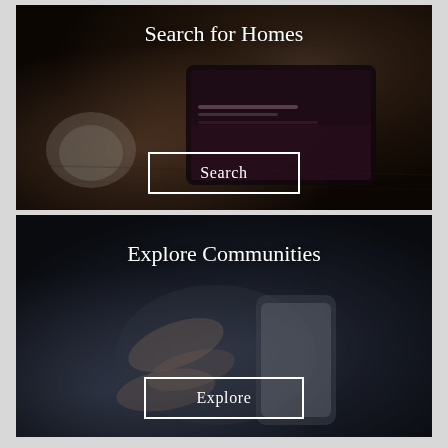[Figure (photo): Dark-toned photo of a tablet device showing a real estate website, next to a coffee cup on a wooden table. Person's hands visible holding the tablet.]
Search for Homes
Search
[Figure (photo): Dark-toned close-up photo of hands using a smartphone/tablet device, grayish-blue tones.]
Explore Communities
Explore